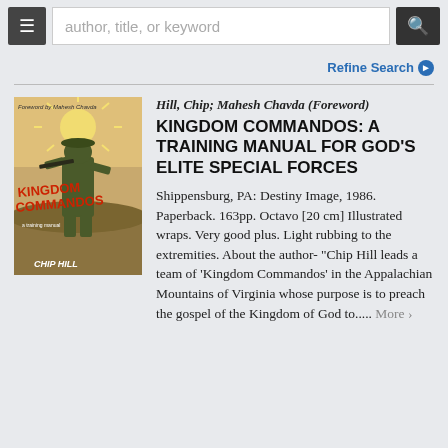author, title, or keyword
Refine Search
[Figure (photo): Book cover of 'Kingdom Commandos' by Chip Hill, showing a soldier in combat gear with 'KINGDOM COMMANDOS' text in red on a tan/brown illustrated background]
Hill, Chip; Mahesh Chavda (Foreword)
KINGDOM COMMANDOS: A TRAINING MANUAL FOR GOD'S ELITE SPECIAL FORCES
Shippensburg, PA: Destiny Image, 1986. Paperback. 163pp. Octavo [20 cm] Illustrated wraps. Very good plus. Light rubbing to the extremities. About the author- "Chip Hill leads a team of 'Kingdom Commandos' in the Appalachian Mountains of Virginia whose purpose is to preach the gospel of the Kingdom of God to..... More >